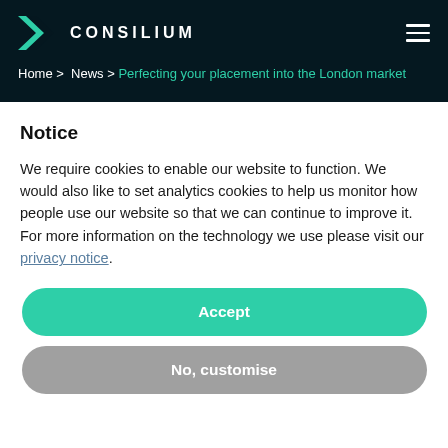[Figure (logo): Consilium logo with green arrow and white text on dark navy background, with hamburger menu icon on right]
Home > News > Perfecting your placement into the London market
Notice
We require cookies to enable our website to function. We would also like to set analytics cookies to help us monitor how people use our website so that we can continue to improve it. For more information on the technology we use please visit our privacy notice.
Accept
No, customise